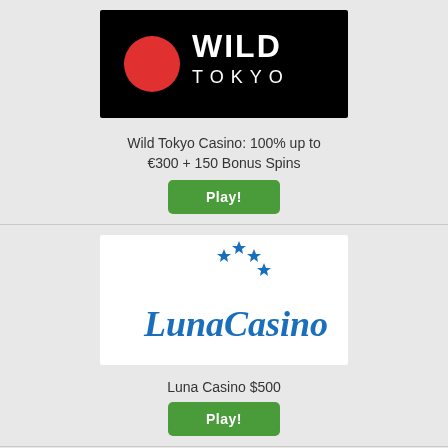[Figure (logo): Wild Tokyo Casino logo: black background with red circle and white bold text WILD TOKYO]
Wild Tokyo Casino: 100% up to €300 + 150 Bonus Spins
[Figure (logo): Luna Casino logo: white background with blue crescent moon, stars, and LunaCasino in blue script]
Luna Casino $500
[Figure (logo): Wazobet logo: dark green outlined bubble letters WAZOBET on grey background]
Wazobet Casino $0 No...